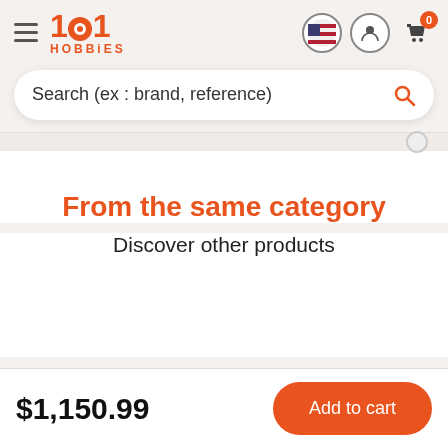[Figure (logo): 1001 Hobbies logo with orange text, hamburger menu, flag icon, user icon, and cart icon with badge '0']
Search (ex : brand, reference)
From the same category
Discover other products
$1,150.99
Add to cart